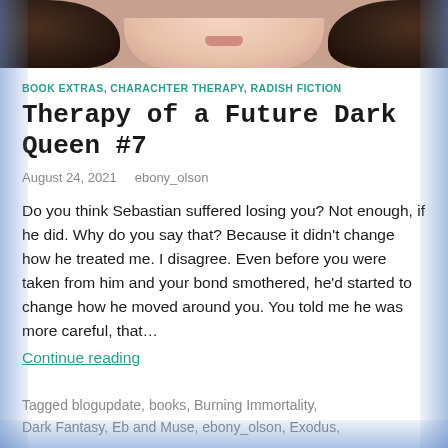[Figure (photo): Cropped photo showing the lower face/chin of a woman with dark hair, visible at the top of the page]
BOOK EXTRAS, CHARACHTER THERAPY, RADISH FICTION
Therapy of a Future Dark Queen #7
August 24, 2021   ebony_olson
Do you think Sebastian suffered losing you? Not enough, if he did. Why do you say that? Because it didn't change how he treated me. I disagree. Even before you were taken from him and your bond smothered, he'd started to change how he moved around you. You told me he was more careful, that...
Continue reading
Tagged blogupdate, books, Burning Immortality, Dark Fantasy, Eb and Muse, ebony_olson, Exodus,